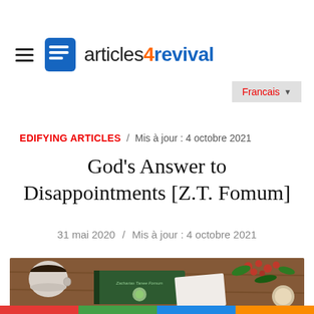articles4revival
Francais
EDIFYING ARTICLES / Mis à jour : 4 octobre 2021
God's Answer to Disappointments [Z.T. Fomum]
31 mai 2020 / Mis à jour : 4 octobre 2021
[Figure (photo): Photo of a coffee cup and a book (Zacharias Tanee Fomum) on a wooden table with berries in background]